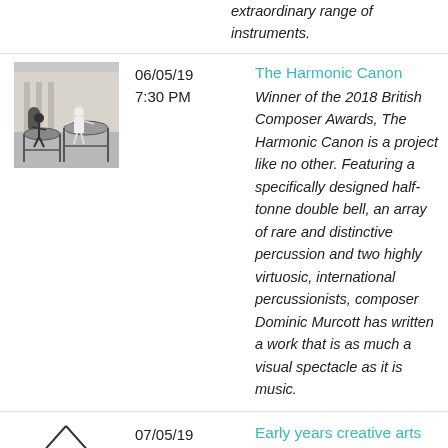extraordinary range of instruments.
[Figure (photo): Two people playing large percussion instruments outdoors in a courtyard.]
06/05/19
7:30 PM
The Harmonic Canon
Winner of the 2018 British Composer Awards, The Harmonic Canon is a project like no other. Featuring a specifically designed half-tonne double bell, an array of rare and distinctive percussion and two highly virtuosic, international percussionists, composer Dominic Murcott has written a work that is as much a visual spectacle as it is music.
[Figure (illustration): Triangle/pyramid line drawing illustration.]
07/05/19
Early years creative arts